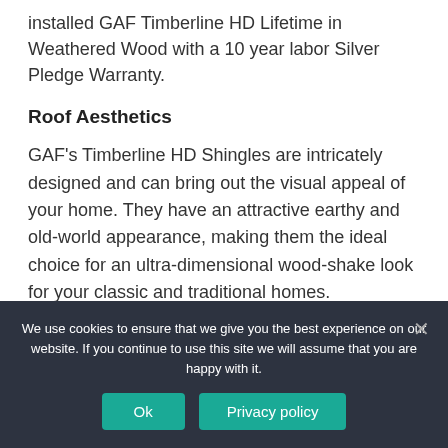installed GAF Timberline HD Lifetime in Weathered Wood with a 10 year labor Silver Pledge Warranty.
Roof Aesthetics
GAF's Timberline HD Shingles are intricately designed and can bring out the visual appeal of your home. They have an attractive earthy and old-world appearance, making them the ideal choice for an ultra-dimensional wood-shake look for your classic and traditional homes.
We use cookies to ensure that we give you the best experience on our website. If you continue to use this site we will assume that you are happy with it.